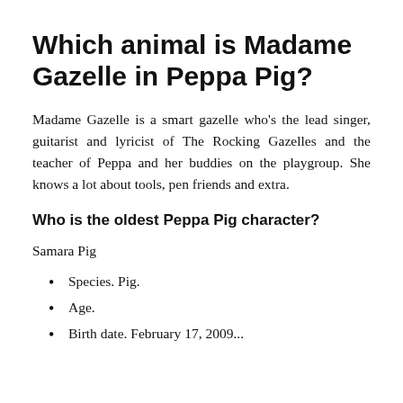Which animal is Madame Gazelle in Peppa Pig?
Madame Gazelle is a smart gazelle who's the lead singer, guitarist and lyricist of The Rocking Gazelles and the teacher of Peppa and her buddies on the playgroup. She knows a lot about tools, pen friends and extra.
Who is the oldest Peppa Pig character?
Samara Pig
Species. Pig.
Age.
Birth date. February 17, 2009...